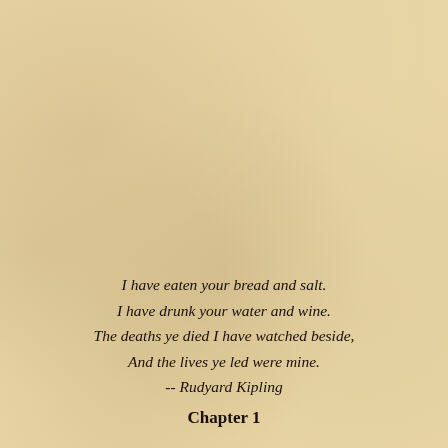I have eaten your bread and salt.
I have drunk your water and wine.
The deaths ye died I have watched beside,
And the lives ye led were mine.
-- Rudyard Kipling
Chapter 1